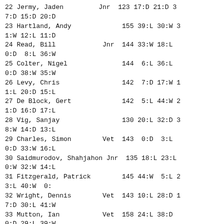22 Jermy, Jaden         Jnr  123 17:D 21:D 3
7:D 15:D 20:D
23 Hartland, Andy             155 39:L 30:W 3
1:W 12:L 11:D
24 Read, Bill            Jnr  144 33:W 18:L
0:D  8:L 36:W
25 Colter, Nigel              144  6:L 36:L
0:D 38:W 35:W
26 Levy, Chris                142  7:D 17:W 1
1:L 20:D 15:L
27 De Block, Gert             142  5:L 44:W 2
1:D 16:D 17:L
28 Vig, Sanjay                130 20:L 32:D 3
8:W 14:D 13:L
29 Charles, Simon        Vet  143  0:D  3:L
0:D 33:W 16:L
30 Saidmurodov, Shahjahon Jnr  135 18:L 23:L
0:W 32:W 14:L
31 Fitzgerald, Patrick        145 44:W  5:L 2
3:L 40:W  0:
32 Wright, Dennis        Vet  143 10:L 28:D 1
7:D 30:L 41:W
33 Mutton, Ian           Vet  158 24:L 38:D
0:D 29:L 39:W
34 Pride, Stephen             143  1:L  8:L